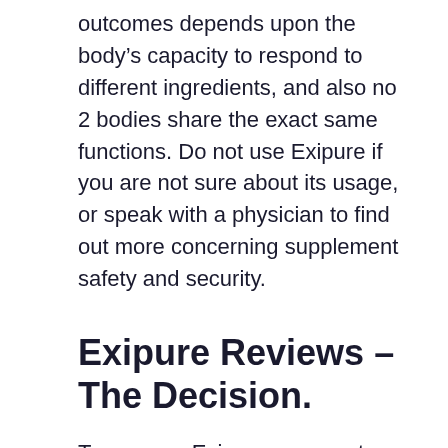outcomes depends upon the body's capacity to respond to different ingredients, and also no 2 bodies share the exact same functions. Do not use Exipure if you are not sure about its usage, or speak with a physician to find out more concerning supplement safety and security.
Exipure Reviews – The Decision.
To sum up, Exipure appears to be a potent weight-loss supplement, with direct advantages for the metabolic process. It uses a healthy method to slim down, which is why the results of the Exipure supplement are much longer as well as better. As a matter of fact, they remain the very same after you